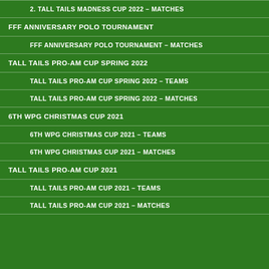2. TALL TAILS MADNESS CUP 2022 – MATCHES
FFF ANNIVERSARY POLO TOURNAMENT
FFF ANNIVERSARY POLO TOURNAMENT – MATCHES
TALL TAILS PRO-AM CUP SPRING 2022
TALL TAILS PRO-AM CUP SPRING 2022 – TEAMS
TALL TAILS PRO-AM CUP SPRING 2022 – MATCHES
6TH WPG CHRISTMAS CUP 2021
6TH WPG CHRISTMAS CUP 2021 – TEAMS
6TH WPG CHRISTMAS CUP 2021 – MATCHES
TALL TAILS PRO-AM CUP 2021
TALL TAILS PRO-AM CUP 2021 – TEAMS
TALL TAILS PRO-AM CUP 2021 – MATCHES